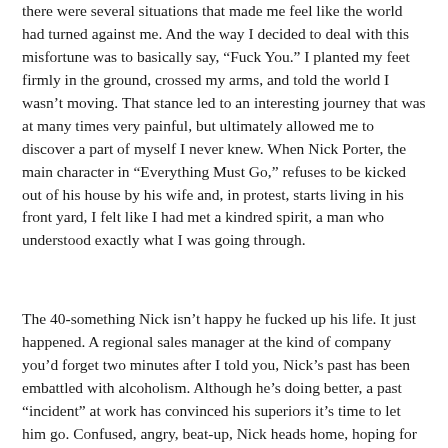there were several situations that made me feel like the world had turned against me. And the way I decided to deal with this misfortune was to basically say, “Fuck You.” I planted my feet firmly in the ground, crossed my arms, and told the world I wasn’t moving. That stance led to an interesting journey that was at many times very painful, but ultimately allowed me to discover a part of myself I never knew. When Nick Porter, the main character in “Everything Must Go,” refuses to be kicked out of his house by his wife and, in protest, starts living in his front yard, I felt like I had met a kindred spirit, a man who understood exactly what I was going through.
The 40-something Nick isn’t happy he fucked up his life. It just happened. A regional sales manager at the kind of company you’d forget two minutes after I told you, Nick’s past has been embattled with alcoholism. Although he’s doing better, a past “incident” at work has convinced his superiors it’s time to let him go. Confused, angry, beat-up, Nick heads home, hoping for some support from his wife, only to find out when he gets there, that she’s gone. And the doors are locked. And the locks have been changed. And all